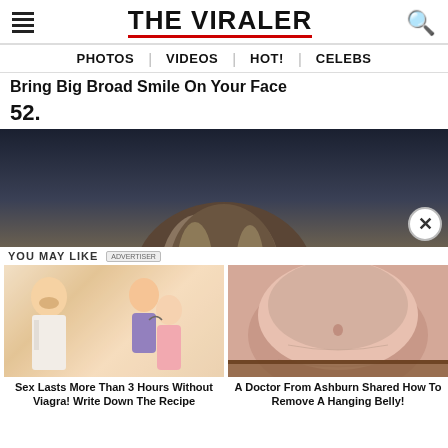THE VIRALER
PHOTOS | VIDEOS | HOT! | CELEBS
Bring Big Broad Smile On Your Face
52.
[Figure (photo): Partial photo showing top of a person's head with blonde/brown hair against dark background]
YOU MAY LIKE   ADVERTISER
[Figure (illustration): Ad image: doctor and cartoon couple illustration for erectile dysfunction remedy]
Sex Lasts More Than 3 Hours Without Viagra! Write Down The Recipe
[Figure (photo): Ad image: close-up photo of a person's belly/midsection]
A Doctor From Ashburn Shared How To Remove A Hanging Belly!